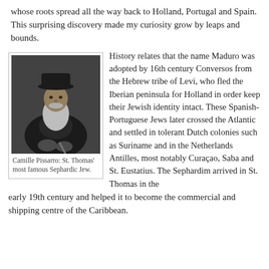whose roots spread all the way back to Holland, Portugal and Spain. This surprising discovery made my curiosity grow by leaps and bounds.
[Figure (photo): Black and white portrait photograph of Camille Pissarro, an elderly bearded man wearing a dark hat and coat, seated and holding a cane.]
Camille Pissarro: St. Thomas' most famous Sephardic Jew.
History relates that the name Maduro was adopted by 16th century Conversos from the Hebrew tribe of Levi, who fled the Iberian peninsula for Holland in order keep their Jewish identity intact. These Spanish-Portuguese Jews later crossed the Atlantic and settled in tolerant Dutch colonies such as Suriname and in the Netherlands Antilles, most notably Curaçao, Saba and St. Eustatius. The Sephardim arrived in St. Thomas in the early 19th century and helped it to become the commercial and shipping centre of the Caribbean.